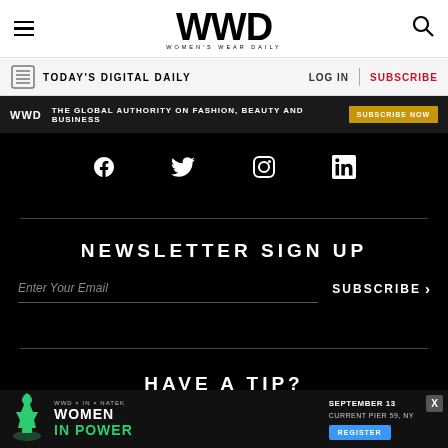WWD — Women's Wear Daily
TODAY'S DIGITAL DAILY | LOG IN | SUBSCRIBE
WWD — THE GLOBAL AUTHORITY ON FASHION, BEAUTY AND BUSINESS — SUBSCRIBE NOW
[Figure (other): Social media icons: Facebook, Twitter, Instagram, LinkedIn on black background]
NEWSLETTER SIGN UP
Enter Your Email — SUBSCRIBE >
HAVE A TIP?
[Figure (other): Bottom advertisement banner: WWD x IN x NATEK — Women In Power — September 13, Current Pier 59, NY — REGISTER button]